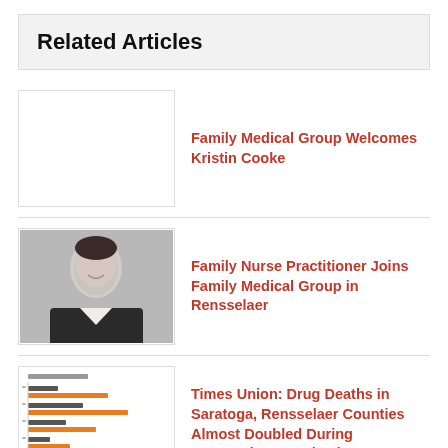Related Articles
Family Medical Group Welcomes Kristin Cooke
[Figure (photo): Empty white placeholder thumbnail for article about Kristin Cooke]
Family Nurse Practitioner Joins Family Medical Group in Rensselaer
[Figure (photo): Headshot of a woman with short dark hair wearing a dark blazer, smiling, against a gray background]
Times Union: Drug Deaths in Saratoga, Rensselaer Counties Almost Doubled During Coronavirus Pandemic
[Figure (bar-chart): Small thumbnail of a horizontal bar chart with orange and dark blue/gray bars showing drug death statistics]
Dr. Harry Lindman Joins St. Peter's Primary Care in Saratoga Springs
[Figure (photo): Headshot of a middle-aged man with glasses wearing a dark suit and red tie, against a gray background]